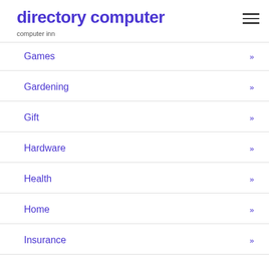directory computer
computer inn
Games »
Gardening »
Gift »
Hardware »
Health »
Home »
Insurance »